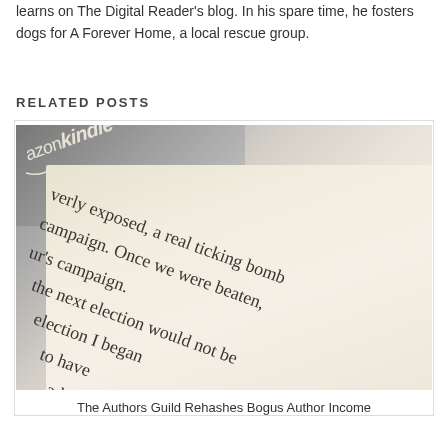learns on The Digital Reader's blog. In his spare time, he fosters dogs for A Forever Home, a local rescue group.
RELATED POSTS
[Figure (photo): Close-up photograph of an Amazon Kindle e-reader showing the device corner with the Amazon Kindle logo and an open book with text visible reading '...verly exposed, a real ticking bomb campaign. Once we were beaten, ur's campaign. the next election would not be election I began to have ad']
The Authors Guild Rehashes Bogus Author Income